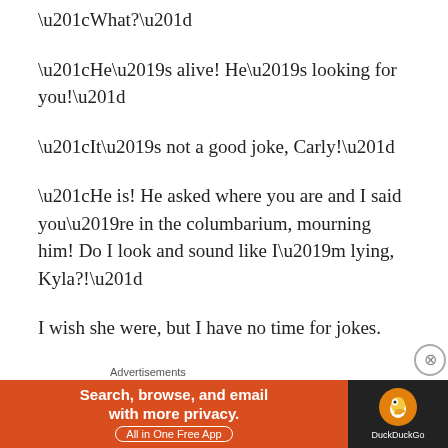“What?”
“He’s alive! He’s looking for you!”
“It’s not a good joke, Carly!”
“He is! He asked where you are and I said you’re in the columbarium, mourning him! Do I look and sound like I’m lying, Kyla?!”
I wish she were, but I have no time for jokes.
“Stop! Carly—” I turn to my left and what I see stills
Advertisements
[Figure (other): DuckDuckGo advertisement banner: orange left panel with text 'Search, browse, and email with more privacy. All in One Free App', dark right panel with DuckDuckGo duck logo and brand name.]